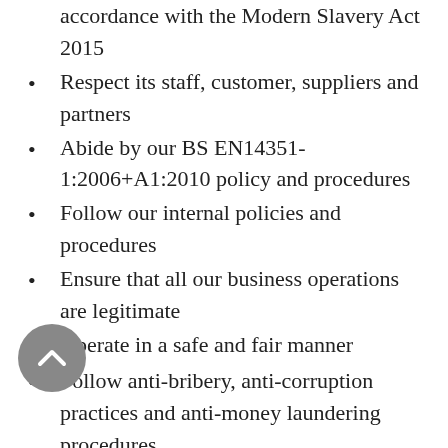accordance with the Modern Slavery Act 2015
Respect its staff, customer, suppliers and partners
Abide by our BS EN14351-1:2006+A1:2010 policy and procedures
Follow our internal policies and procedures
Ensure that all our business operations are legitimate
Operate in a safe and fair manner
Follow anti-bribery, anti-corruption practices and anti-money laundering procedures
Protect the environment by practices our Environmental policy
Keep our staff and visitors safe and well by